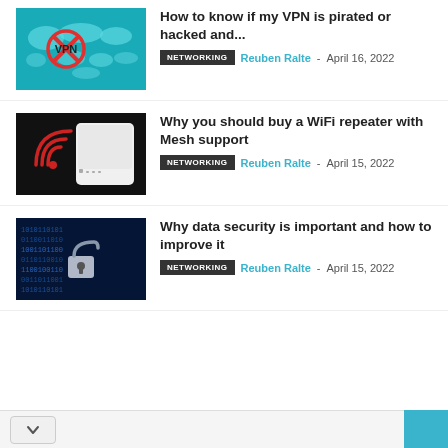[Figure (illustration): Teal world map with VPN red crossed-circle icon]
How to know if my VPN is pirated or hacked and...
NETWORKING  Reuben Ralte - April 16, 2022
[Figure (photo): White WiFi mesh router device with red WiFi signal arc on dark background]
Why you should buy a WiFi repeater with Mesh support
NETWORKING  Reuben Ralte - April 15, 2022
[Figure (photo): Padlock on blue binary data background representing data security]
Why data security is important and how to improve it
NETWORKING  Reuben Ralte - April 15, 2022